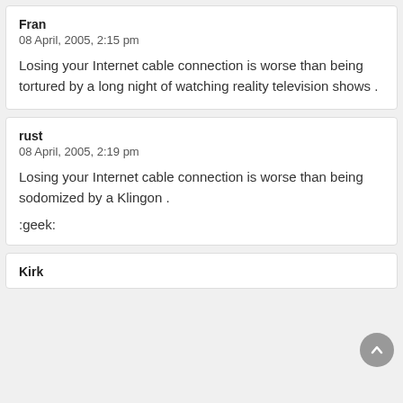Fran
08 April, 2005, 2:15 pm
Losing your Internet cable connection is worse than being tortured by a long night of watching reality television shows .
rust
08 April, 2005, 2:19 pm
Losing your Internet cable connection is worse than being sodomized by a Klingon .
:geek:
Kirk